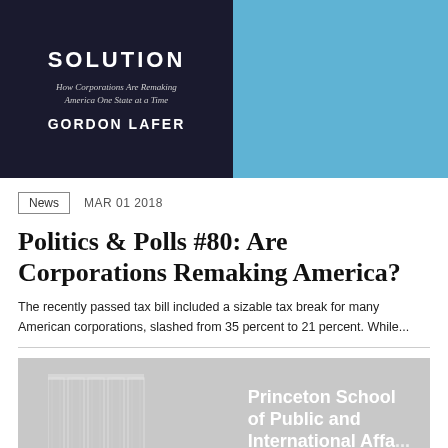[Figure (photo): Book cover image split: left side dark navy background with title 'SOLUTION', subtitle 'How Corporations Are Remaking America One State at a Time', author 'GORDON LAFER'; right side solid light blue panel.]
News   MAR 01 2018
Politics & Polls #80: Are Corporations Remaking America?
The recently passed tax bill included a sizable tax break for many American corporations, slashed from 35 percent to 21 percent. While...
[Figure (logo): Princeton School of Public and International Affairs logo/banner with classical column architecture in grey and white text.]